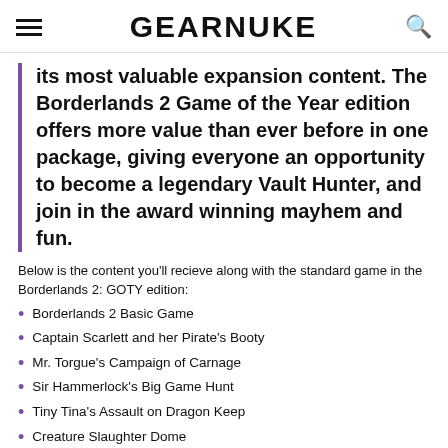GEARNUKE
its most valuable expansion content. The Borderlands 2 Game of the Year edition offers more value than ever before in one package, giving everyone an opportunity to become a legendary Vault Hunter, and join in the award winning mayhem and fun.
Below is the content you'll recieve along with the standard game in the Borderlands 2: GOTY edition:
Borderlands 2 Basic Game
Captain Scarlett and her Pirate's Booty
Mr. Torgue's Campaign of Carnage
Sir Hammerlock's Big Game Hunt
Tiny Tina's Assault on Dragon Keep
Creature Slaughter Dome
Gaige, the Mechromancer Character Class